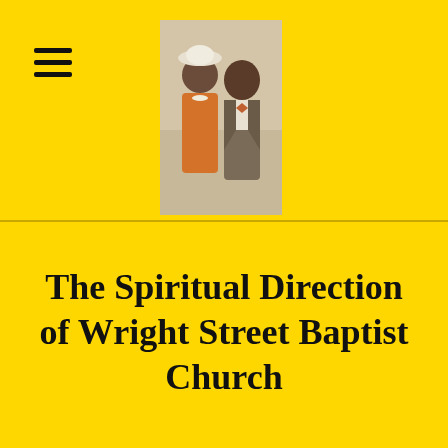[Figure (photo): Portrait photo of a man and woman dressed formally, woman wearing an orange jacket and white hat, man wearing a suit with bow tie, standing together against a light background]
The Spiritual Direction of Wright Street Baptist Church